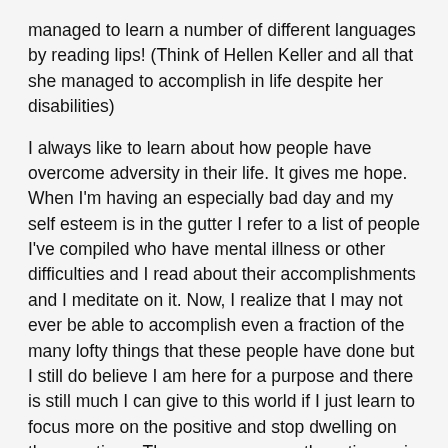managed to learn a number of different languages by reading lips! (Think of Hellen Keller and all that she managed to accomplish in life despite her disabilities)
I always like to learn about how people have overcome adversity in their life. It gives me hope. When I'm having an especially bad day and my self esteem is in the gutter I refer to a list of people I've compiled who have mental illness or other difficulties and I read about their accomplishments and I meditate on it. Now, I realize that I may not ever be able to accomplish even a fraction of the many lofty things that these people have done but I still do believe I am here for a purpose and there is still much I can give to this world if I just learn to focus more on the positive and stop dwelling on the negative... There are so many other stigmas in world besides having a mental illness like being fat, being black, being Muslim, being poor or homeless (think of the movie The Pursuit Of Happiness, based on a true story) but there are also a lot